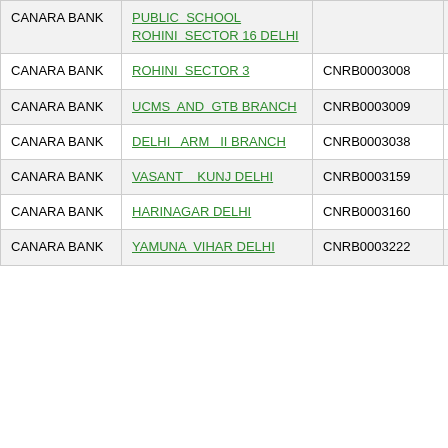| Bank | Branch | IFSC | MICR |
| --- | --- | --- | --- |
| CANARA BANK | PUBLIC SCHOOL ROHINI SECTOR 16 DELHI |  |  |
| CANARA BANK | ROHINI SECTOR 3 | CNRB0003008 | NA |
| CANARA BANK | UCMS AND GTB BRANCH | CNRB0003009 | NA |
| CANARA BANK | DELHI ARM II BRANCH | CNRB0003038 | 110015314 |
| CANARA BANK | VASANT KUNJ DELHI | CNRB0003159 | NA |
| CANARA BANK | HARINAGAR DELHI | CNRB0003160 | NA |
| CANARA BANK | YAMUNA VIHAR DELHI | CNRB0003222 | NA |